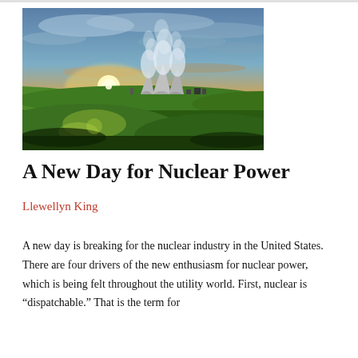[Figure (photo): Aerial/wide-angle photograph of a nuclear power plant with large cooling towers emitting steam, set against a dramatic sunset sky with golden and blue tones, surrounded by green fields.]
A New Day for Nuclear Power
Llewellyn King
A new day is breaking for the nuclear industry in the United States. There are four drivers of the new enthusiasm for nuclear power, which is being felt throughout the utility world. First, nuclear is “dispatchable.” That is the term for